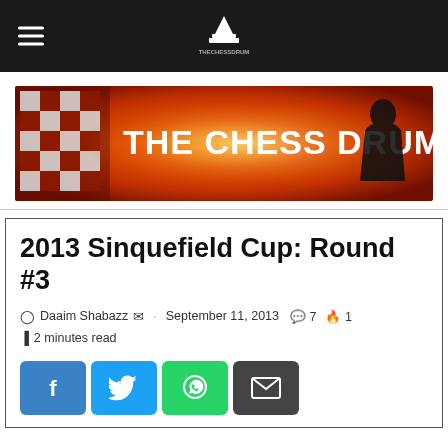The Chess Drum website header with navigation
[Figure (logo): The Chess Drum banner logo with red gradient background, chess piece silhouette, checker pattern]
2013 Sinquefield Cup: Round #3
Daaim Shabazz · September 11, 2013  7  1
2 minutes read
Share buttons: Facebook, Twitter, WhatsApp, Email